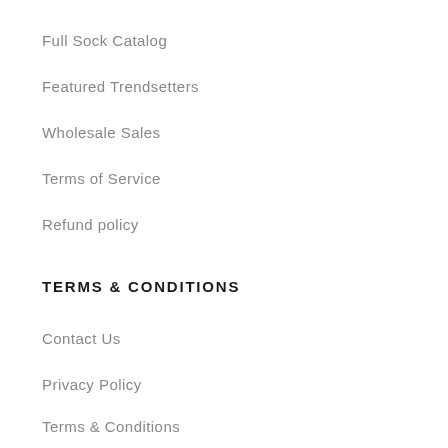Full Sock Catalog
Featured Trendsetters
Wholesale Sales
Terms of Service
Refund policy
TERMS & CONDITIONS
Contact Us
Privacy Policy
Terms & Conditions